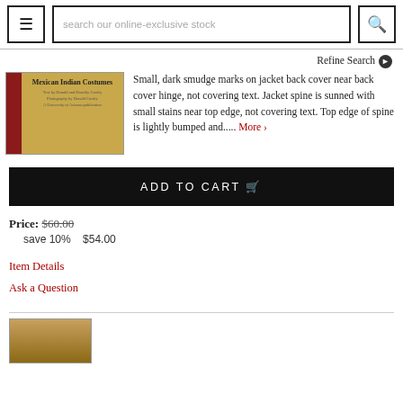search our online-exclusive stock
Refine Search
[Figure (photo): Book cover of Mexican Indian Costumes with dark red spine and tan/gold background]
Small, dark smudge marks on jacket back cover near back cover hinge, not covering text. Jacket spine is sunned with small stains near top edge, not covering text. Top edge of spine is lightly bumped and..... More >
ADD TO CART
Price: $60.00
save 10%   $54.00
Item Details
Ask a Question